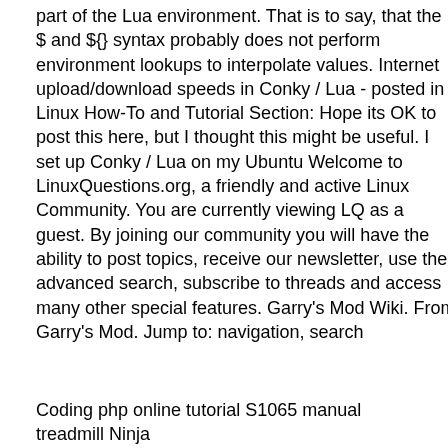part of the Lua environment. That is to say, that the $ and ${} syntax probably does not perform environment lookups to interpolate values. Internet upload/download speeds in Conky / Lua - posted in Linux How-To and Tutorial Section: Hope its OK to post this here, but I thought this might be useful. I set up Conky / Lua on my Ubuntu Welcome to LinuxQuestions.org, a friendly and active Linux Community. You are currently viewing LQ as a guest. By joining our community you will have the ability to post topics, receive our newsletter, use the advanced search, subscribe to threads and access many other special features. Garry's Mod Wiki. From Garry's Mod. Jump to: navigation, search
Coding php online tutorial S1065 manual treadmill Ninja